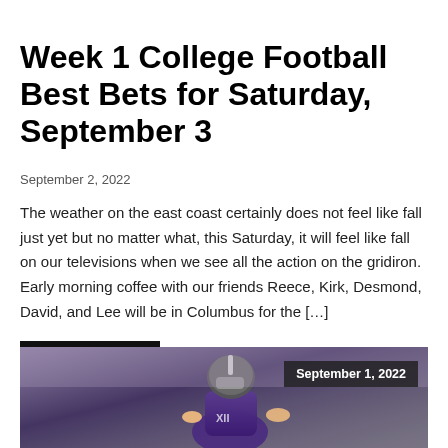Week 1 College Football Best Bets for Saturday, September 3
September 2, 2022
The weather on the east coast certainly does not feel like fall just yet but no matter what, this Saturday, it will feel like fall on our televisions when we see all the action on the gridiron. Early morning coffee with our friends Reece, Kirk, Desmond, David, and Lee will be in Columbus for the […]
READ MORE
[Figure (photo): A Kansas State football player in purple uniform and helmet running on the field, with a date overlay reading September 1, 2022]